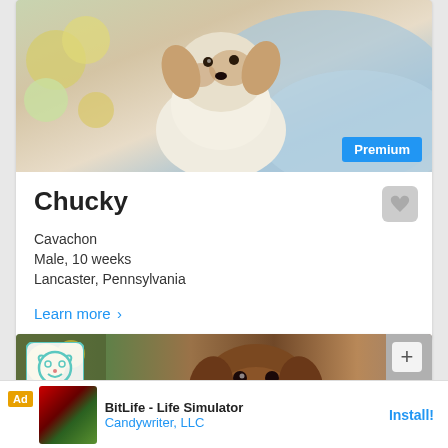[Figure (photo): Puppy (Cavachon) sitting on blue blanket with flowers, with a 'Premium' badge in the bottom right corner of the image]
Chucky
Cavachon
Male, 10 weeks
Lancaster, Pennsylvania
Learn more ›
[Figure (photo): Chocolate Labrador puppy in a bucket/pot, with a dog logo overlay and a plus (+) button]
Ad  BitLife - Life Simulator  Candywriter, LLC  Install!